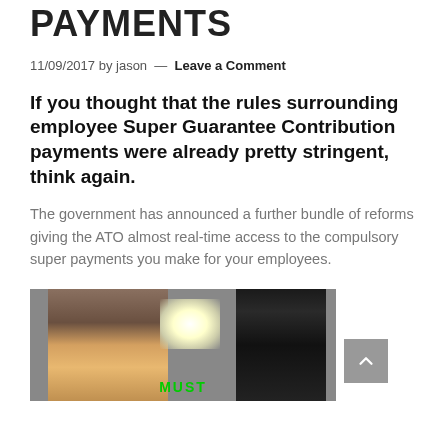PAYMENTS
11/09/2017 by jason — Leave a Comment
If you thought that the rules surrounding employee Super Guarantee Contribution payments were already pretty stringent, think again.
The government has announced a further bundle of reforms giving the ATO almost real-time access to the compulsory super payments you make for your employees.
[Figure (photo): Two people facing each other with a bright flash/light between them; green text 'MUST' visible at bottom center of image]